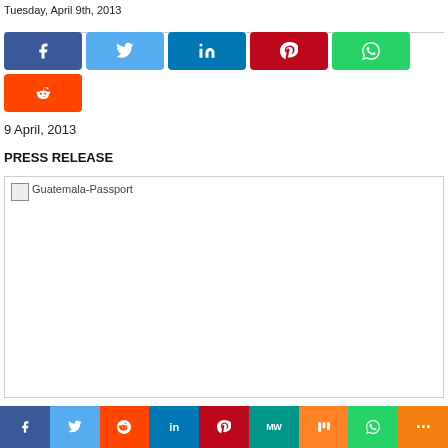Tuesday, April 9th, 2013
[Figure (infographic): Social media share buttons row: Facebook (blue), Twitter (light blue), LinkedIn (dark blue), Pinterest (red), WhatsApp (green), Reddit (orange)]
9 April, 2013
PRESS RELEASE
[Figure (photo): Guatemala-Passport image (broken/placeholder image)]
[Figure (infographic): Bottom social share bar: Facebook, Twitter, Reddit, LinkedIn, Pinterest, MW, Mix, WhatsApp, More]